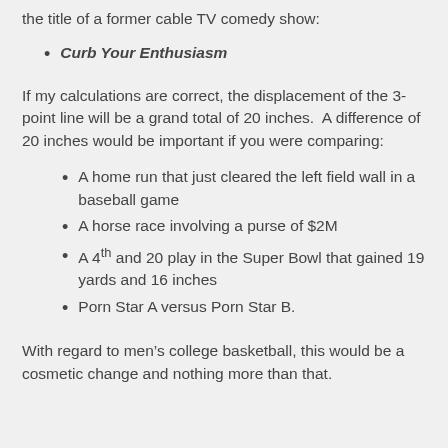the title of a former cable TV comedy show:
Curb Your Enthusiasm
If my calculations are correct, the displacement of the 3-point line will be a grand total of 20 inches.  A difference of 20 inches would be important if you were comparing:
A home run that just cleared the left field wall in a baseball game
A horse race involving a purse of $2M
A 4th and 20 play in the Super Bowl that gained 19 yards and 16 inches
Porn Star A versus Porn Star B.
With regard to men’s college basketball, this would be a cosmetic change and nothing more than that.